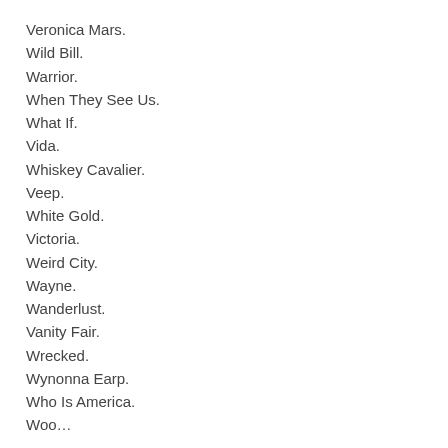Veronica Mars.
Wild Bill.
Warrior.
When They See Us.
What If.
Vida.
Whiskey Cavalier.
Veep.
White Gold.
Victoria.
Weird City.
Wayne.
Wanderlust.
Vanity Fair.
Wrecked.
Wynonna Earp.
Who Is America.
Woo…